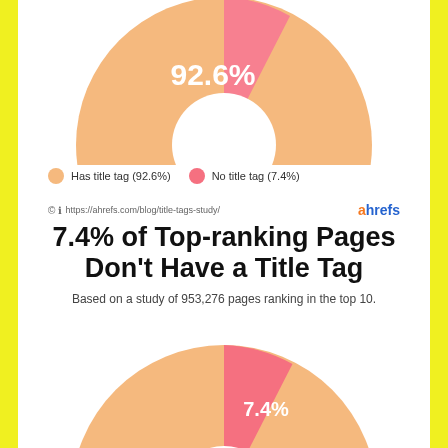[Figure (donut-chart): Top pie chart (partial, top half)]
Has title tag (92.6%)   No title tag (7.4%)
https://ahrefs.com/blog/title-tags-study/
7.4% of Top-ranking Pages Don't Have a Title Tag
Based on a study of 953,276 pages ranking in the top 10.
[Figure (donut-chart): Bottom donut chart]